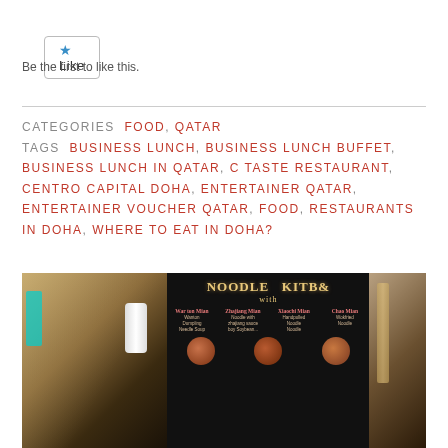[Figure (screenshot): Like button widget with star icon]
Be the first to like this.
CATEGORIES  FOOD, QATAR
TAGS  BUSINESS LUNCH, BUSINESS LUNCH BUFFET, BUSINESS LUNCH IN QATAR, C TASTE RESTAURANT, CENTRO CAPITAL DOHA, ENTERTAINER QATAR, ENTERTAINER VOUCHER QATAR, FOOD, RESTAURANTS IN DOHA, WHERE TO EAT IN DOHA?
[Figure (photo): Restaurant interior photo showing noodle bar menu board on chalkboard with items: Wonton Mian (Wanton Dumpling Noodle Soup), Zhajiang Mian (Noodle with zhajiang sauce soy soybean), Xiaochi Mian (Handpulled Noodle), Chao Mian (Wokfried Noodle). Left side shows restaurant interior with cyan light.]